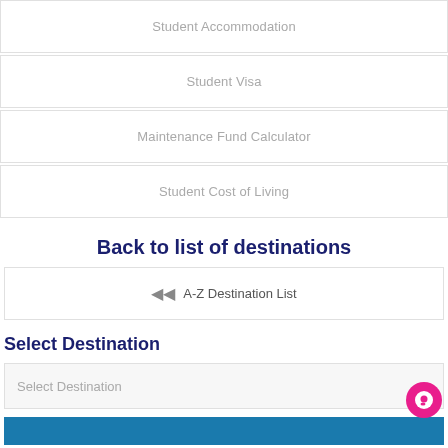Student Accommodation
Student Visa
Maintenance Fund Calculator
Student Cost of Living
Back to list of destinations
A-Z Destination List
Select Destination
Select Destination